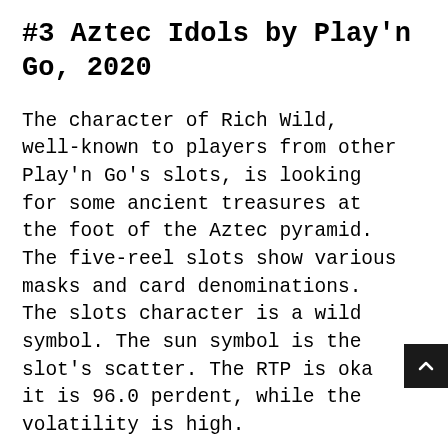#3 Aztec Idols by Play'n Go, 2020
The character of Rich Wild, well-known to players from other Play'n Go's slots, is looking for some ancient treasures at the foot of the Aztec pyramid. The five-reel slots show various masks and card denominations. The slots character is a wild symbol. The sun symbol is the slot's scatter. The RTP is oka it is 96.0 perdent, while the volatility is high.